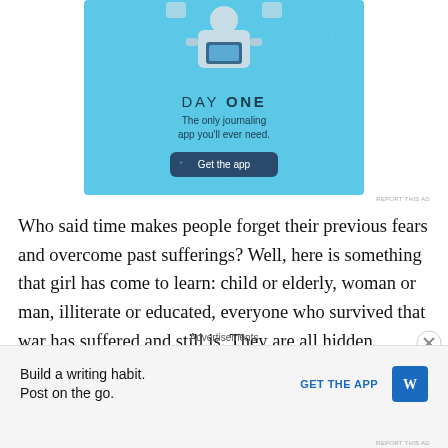[Figure (illustration): Day One journaling app advertisement with light blue background, sparkle stars, illustration of person holding devices, 'DAY ONE' title, tagline 'The only journaling app you'll ever need.' and 'Get the app' button]
Who said time makes people forget their previous fears and overcome past sufferings? Well, here is something that girl has come to learn: child or elderly, woman or man, illiterate or educated, everyone who survived that war has suffered and still is. They are all hidden victims that no one ever bothered to soothe their psychological needs and
Advertisements
[Figure (illustration): WordPress app advertisement: 'Build a writing habit. Post on the go.' with 'GET THE APP' link and WordPress logo]